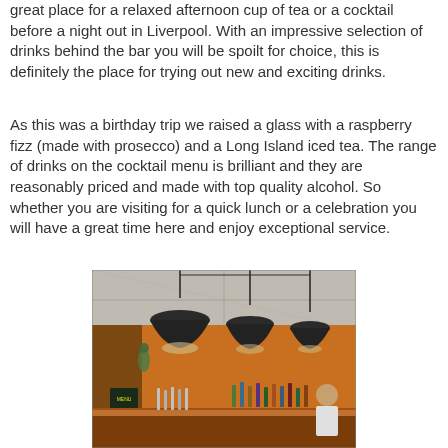great place for a relaxed afternoon cup of tea or a cocktail before a night out in Liverpool. With an impressive selection of drinks behind the bar you will be spoilt for choice, this is definitely the place for trying out new and exciting drinks.
As this was a birthday trip we raised a glass with a raspberry fizz (made with prosecco) and a Long Island iced tea. The range of drinks on the cocktail menu is brilliant and they are reasonably priced and made with top quality alcohol. So whether you are visiting for a quick lunch or a celebration you will have a great time here and enjoy exceptional service.
[Figure (photo): Interior photo of a bar with orange walls, dark pendant lights hanging from the ceiling, bar taps, bottles behind the bar, and a bartender visible in the background.]